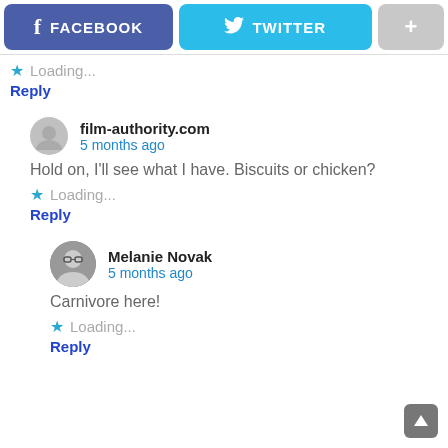[Figure (screenshot): Facebook and Twitter login/share buttons with a plus button]
Loading...
Reply
film-authority.com
5 months ago
Hold on, I'll see what I have. Biscuits or chicken?
Loading...
Reply
Melanie Novak
5 months ago
Carnivore here!
Loading...
Reply